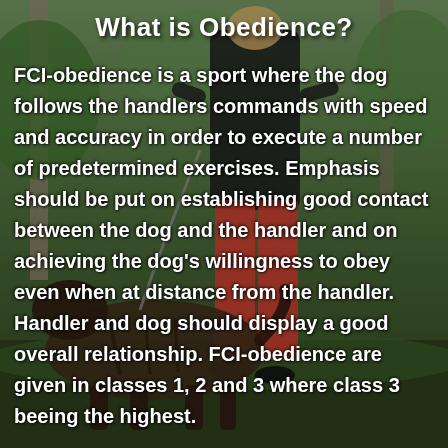[Figure (photo): Outdoor photo of a dog handler running with a large brindle dog (Belgian Malinois or similar) through a grassy/wooded area. The handler wears black long-sleeve top and bright red/orange pants with black shoes. Trees and green foliage are visible in the background.]
What is Obedience?
FCI-obedience is a sport where the dog follows the handlers commands with speed and accuracy in order to execute a number of predetermined exercises. Emphasis should be put on establishing good contact between the dog and the handler and on achieving the dog's willingness to obey even when at distance from the handler. Handler and dog should display a good overall relationship. FCI-obedience are given in classes 1, 2 and 3 where class 3 beeing the highest.